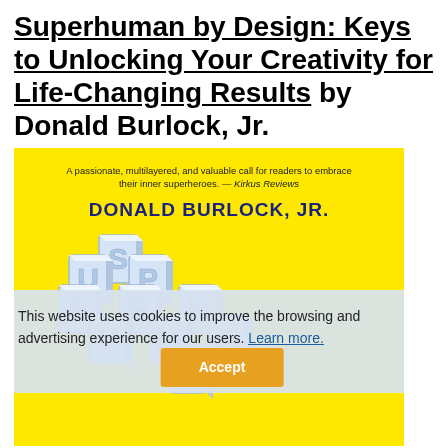Superhuman by Design: Keys to Unlocking Your Creativity for Life-Changing Results by Donald Burlock, Jr.
[Figure (illustration): Book cover of 'Superhuman by Design' by Donald Burlock, Jr. Yellow background with a Kirkus Reviews quote at top, author name in bold navy, and large 3D block letters spelling 'SUPERHUMAN' in the center. A cookie consent banner overlays the lower portion reading 'This website uses cookies to improve the browsing and advertising experience for our users. Learn more.' with an Accept button.]